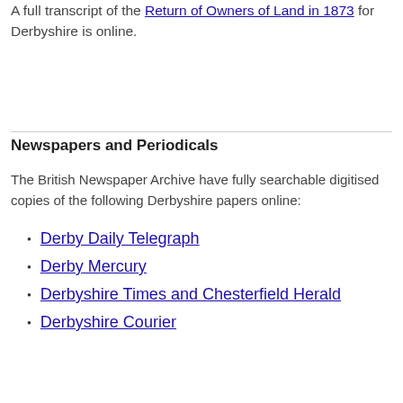A full transcript of the Return of Owners of Land in 1873 for Derbyshire is online.
Newspapers and Periodicals
The British Newspaper Archive have fully searchable digitised copies of the following Derbyshire papers online:
Derby Daily Telegraph
Derby Mercury
Derbyshire Times and Chesterfield Herald
Derbyshire Courier